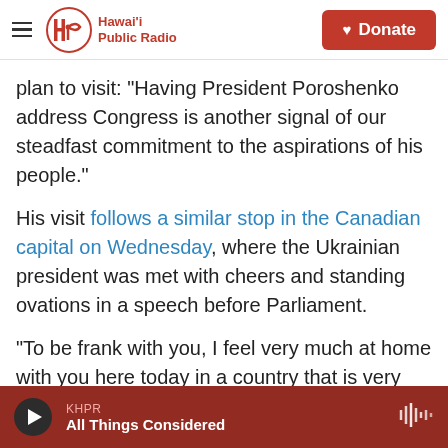Hawai'i Public Radio — Donate
plan to visit: "Having President Poroshenko address Congress is another signal of our steadfast commitment to the aspirations of his people."
His visit follows a similar stop in the Canadian capital on Wednesday, where the Ukrainian president was met with cheers and standing ovations in a speech before Parliament.
"To be frank with you, I feel very much at home with you here today in a country that is very close to Ukraine," Poroshenko told members of Parliament in Ottawa. "Canada is a friend, indeed."
KHPR — All Things Considered